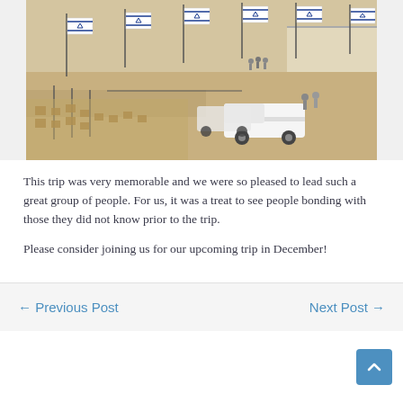[Figure (photo): Aerial/elevated view of an outdoor site with multiple Israeli flags on poles, stone walls, people gathering, white pickup truck and other vehicles on a dirt/gravel area. Appears to be a cemetery or memorial site in Israel.]
This trip was very memorable and we were so pleased to lead such a great group of people.  For us, it was a treat to see people bonding with those they did not know prior to the trip.
Please consider joining us for our upcoming trip in December!
← Previous Post    Next Post →